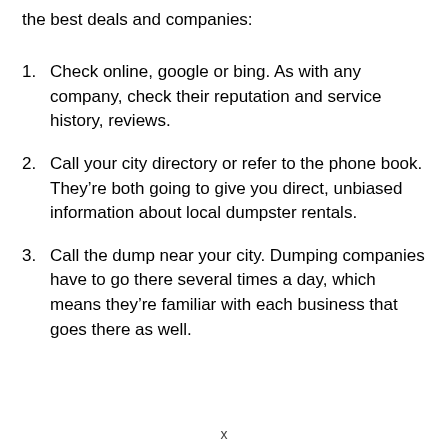the best deals and companies:
Check online, google or bing. As with any company, check their reputation and service history, reviews.
Call your city directory or refer to the phone book. They're both going to give you direct, unbiased information about local dumpster rentals.
Call the dump near your city. Dumping companies have to go there several times a day, which means they're familiar with each business that goes there as well.
x